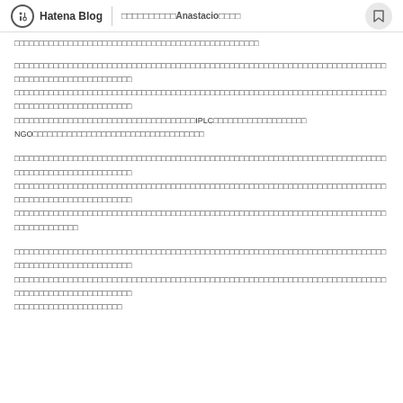Hatena Blog | □□□□□□□□□□Anastacio□□□□
□□□□□□□□□□□□□□□□□□□□□□□□□□□□□□□□□□□□□□□□□□□□□□□□□□
□□□□□□□□□□□□□□□□□□□□□□□□□□□□□□□□□□□□□□□□□□□□□□□□□□□□□□□□□□□□□□□□□□□□□□□□□□□□□□□□□□□□□□□□□□□□□□□□□□□□□□□□□□□□□□□□□□□□□□□□□□□□□□□□□□□□□□□□□□□□□□□□□□□□□□□□□□□IPLC□□□□□□□□□□□□□□□□□□□NGO□□□□□□□□□□□□□□□□□□□□□□□□□□□□□□□□
□□□□□□□□□□□□□□□□□□□□□□□□□□□□□□□□□□□□□□□□□□□□□□□□□□□□□□□□□□□□□□□□□□□□□□□□□□□□□□□□□□□□□□□□□□□□□□□□□□□□□□□□□□□□□□□□□□□□□□□□□□□□□□□□□□□□□□□□□□□□□□
□□□□□□□□□□□□□□□□□□□□□□□□□□□□□□□□□□□□□□□□□□□□□□□□□□□□□□□□□□□□□□□□□□□□□□□□□□□□□□□□□□□□□□□□□□□□□□□□□□□□□□□□□□□□□□□□□□□□□□□□□□□□□□□□□□□□□□□□□□□□□□□□□□□□□□□□□□□□□□□□□□□□□□□□□□□□□□□